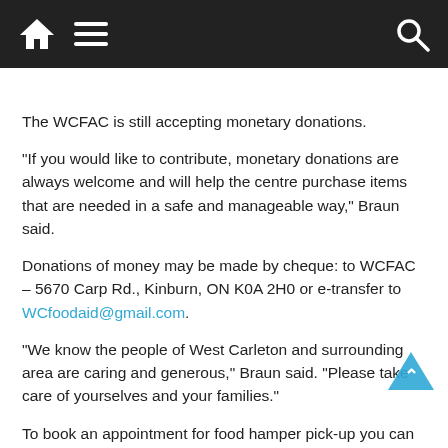Navigation bar with home, menu, and search icons
The WCFAC is still accepting monetary donations.
“If you would like to contribute, monetary donations are always welcome and will help the centre purchase items that are needed in a safe and manageable way,” Braun said.
Donations of money may be made by cheque: to WCFAC – 5670 Carp Rd., Kinburn, ON K0A 2H0 or e-transfer to WCfoodaid@gmail.com.
“We know the people of West Carleton and surrounding area are caring and generous,” Braun said. “Please take care of yourselves and your families.”
To book an appointment for food hamper pick-up you can contact the WCFAC by phone at 613-832-5685, on Monday, Wednesday or Friday until 1 p.m. You can also…